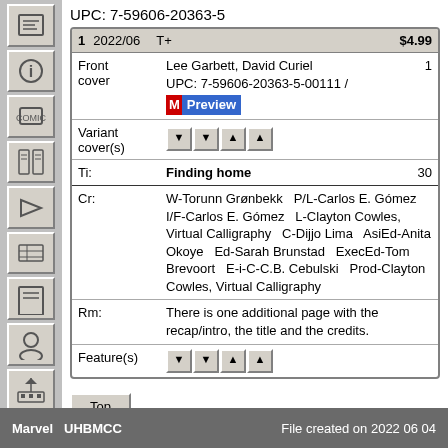UPC: 7-59606-20363-5
| # | Date | Type | Price |
| --- | --- | --- | --- |
| 1 | 2022/06 | T+ | $4.99 |
| Front cover |  | Lee Garbett, David Curiel
UPC: 7-59606-20363-5-00111 / M Preview | 1 |
| Variant cover(s) |  | [arrow buttons] |  |
| Ti: |  | Finding home | 30 |
| Cr: |  | W-Torunn Grønbekk   P/L-Carlos E. Gómez   I/F-Carlos E. Gómez   L-Clayton Cowles, Virtual Calligraphy   C-Dijjo Lima   AsiEd-Anita Okoye   Ed-Sarah Brunstad   ExecEd-Tom Brevoort   E-i-C-C.B. Cebulski   Prod-Clayton Cowles, Virtual Calligraphy |  |
| Rm: |  | There is one additional page with the recap/intro, the title and the credits. |  |
| Feature(s) |  | [arrow buttons] |  |
Marvel  UHBMCC    File created on 2022 06 04